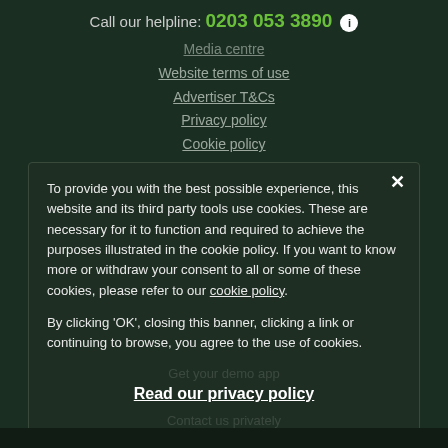Call our helpline: 0203 053 3890
Media centre
Website terms of use
Advertiser T&Cs
Privacy policy
Cookie policy
Sitemap
To provide you with the best possible experience, this website and its third party tools use cookies. These are necessary for it to function and required to achieve the purposes illustrated in the cookie policy. If you want to know more or withdraw your consent to all or some of these cookies, please refer to our cookie policy.
By clicking 'OK', closing this banner, clicking a link or continuing to browse, you agree to the use of cookies.
Read our privacy policy
OK